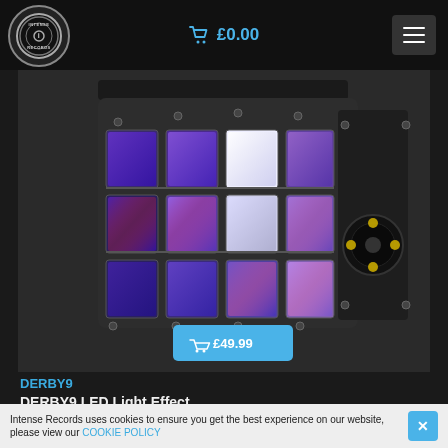£0.00
[Figure (photo): DERBY9 LED Light Effect unit - a black box-shaped DJ lighting fixture with multiple purple/blue LED panels arranged in a curved array on the front, and a fan visible on the right side. A blue price button showing £49.99 is overlaid on the bottom center of the image.]
DERBY9
DERBY9 LED Light Effect
qtx
Intense Records uses cookies to ensure you get the best experience on our website, please view our COOKIE POLICY